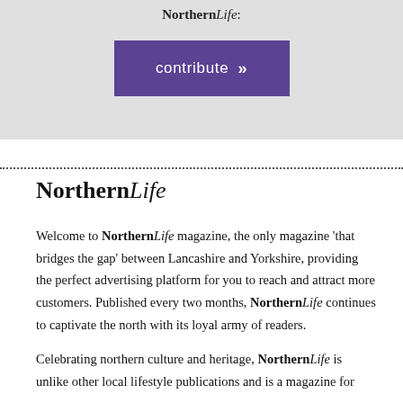NorthernLife:
[Figure (other): Purple contribute button with double chevron arrow]
NorthernLife
Welcome to NorthernLife magazine, the only magazine 'that bridges the gap' between Lancashire and Yorkshire, providing the perfect advertising platform for you to reach and attract more customers. Published every two months, NorthernLife continues to captivate the north with its loyal army of readers.
Celebrating northern culture and heritage, NorthernLife is unlike other local lifestyle publications and is a magazine for